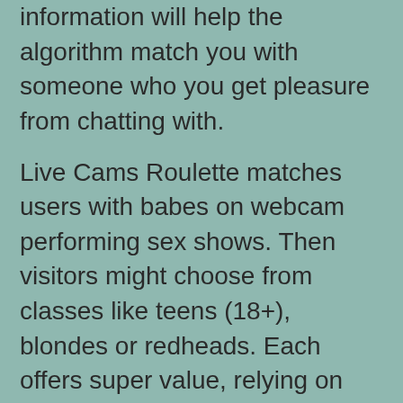information will help the algorithm match you with someone who you get pleasure from chatting with.
Live Cams Roulette matches users with babes on webcam performing sex shows. Then visitors might choose from classes like teens (18+), blondes or redheads. Each offers super value, relying on what kind coomeet chat of webcam roulette you like. Furthermore, all platforms listed stand out as gems that don’t include issues we cited. PERMANENT server bans might be placed to users who attempt to exploit/hack our adult chatrooms.